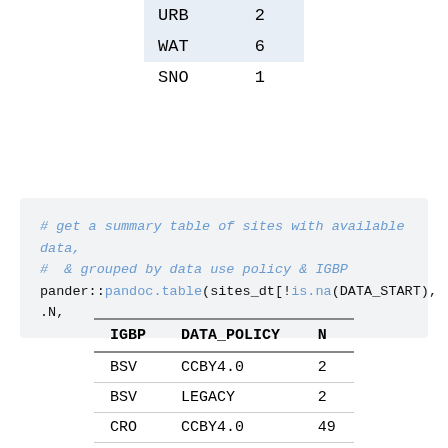|  |  |
| --- | --- |
| URB | 2 |
| WAT | 6 |
| SNO | 1 |
# get a summary table of sites with available data,
#  & grouped by data use policy & IGBP
pander::pandoc.table(sites_dt[!is.na(DATA_START), .N,
| IGBP | DATA_POLICY | N |
| --- | --- | --- |
| BSV | CCBY4.0 | 2 |
| BSV | LEGACY | 2 |
| CRO | CCBY4.0 | 49 |
| CRO | LEGACY | 14 |
| CSH | LEGACY | 5 |
| CSH | CCBY4.0 | 6 |
| CVM | CCBY4.0 | 2 |